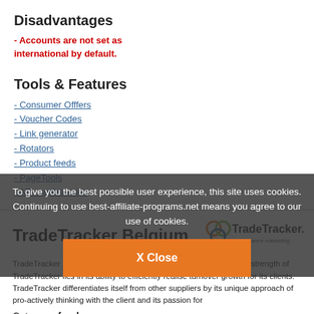Disadvantages
- Accounts are not set as international by default.
Tools & Features
- Consumer Offfers
- Voucher Codes
- Link generator
- Rotators
- Product feeds
- PageTools
- API - webservice
TradeTracker Belgium
[Figure (logo): TradeTracker.com performance marketing logo]
TradeTracker (Belgium) is the best european affiliate network. The strength of TradeTracker lies in its ability to efficiently realise turnover growth for its clients. TradeTracker differentiates itself from other suppliers by its unique approach of pro-actively thinking with the client and its passion for
Category: food
To give you the best possible user experience, this site uses cookies. Continuing to use best-affiliate-programs.net means you agree to our use of cookies.
X Close